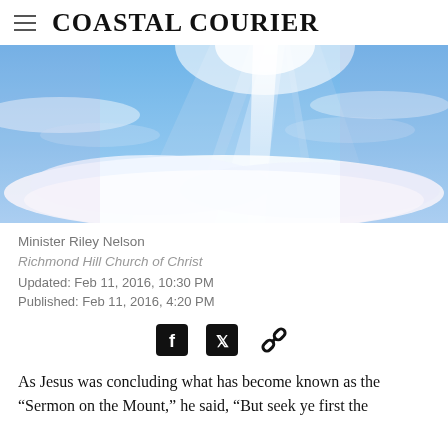Coastal Courier
[Figure (photo): Sky with bright light shining through clouds, blue sky background with white clouds and a beam of light from above.]
Minister Riley Nelson
Richmond Hill Church of Christ
Updated: Feb 11, 2016, 10:30 PM
Published: Feb 11, 2016, 4:20 PM
[Figure (infographic): Social share icons: Facebook, Twitter, and link/chain icon]
As Jesus was concluding what has become known as the “Sermon on the Mount,” he said, “But seek ye first the